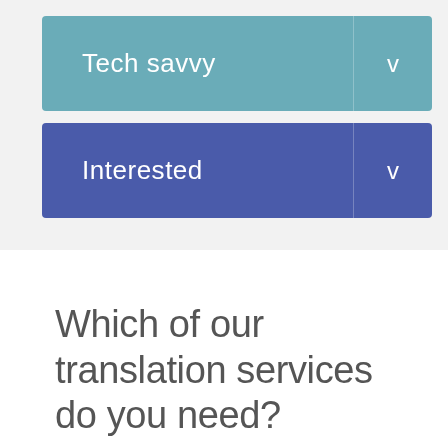[Figure (screenshot): Teal dropdown bar labeled 'Tech savvy' with a chevron/v icon on the right]
[Figure (screenshot): Blue/purple dropdown bar labeled 'Interested' with a chevron/v icon on the right]
Which of our translation services do you need?